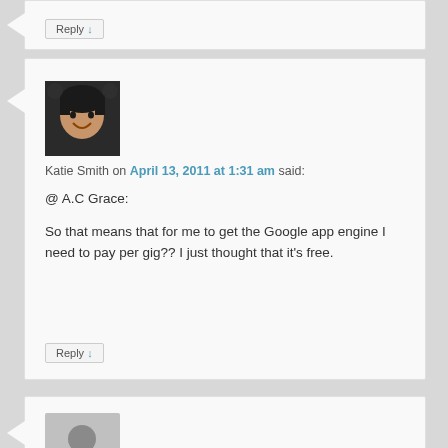Reply ↓
[Figure (photo): Profile photo of Katie Smith, a young woman smiling]
Katie Smith on April 13, 2011 at 1:31 am said:
@ A.C Grace:

So that means that for me to get the Google app engine I need to pay per gig?? I just thought that it's free.
Reply ↓
[Figure (photo): Default avatar placeholder, grey silhouette of a person]